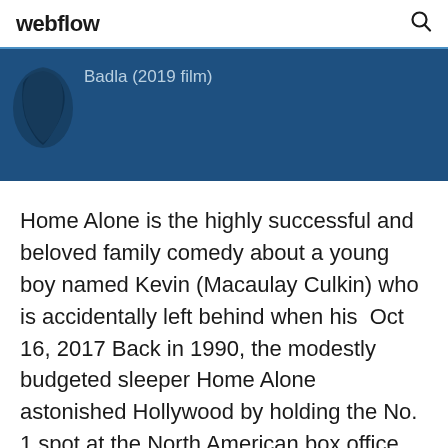webflow
[Figure (screenshot): Blue banner with Badla (2019 film) text and a dark silhouette image on the left]
Home Alone is the highly successful and beloved family comedy about a young boy named Kevin (Macaulay Culkin) who is accidentally left behind when his  Oct 16, 2017 Back in 1990, the modestly budgeted sleeper Home Alone astonished Hollywood by holding the No. 1 spot at the North American box office for